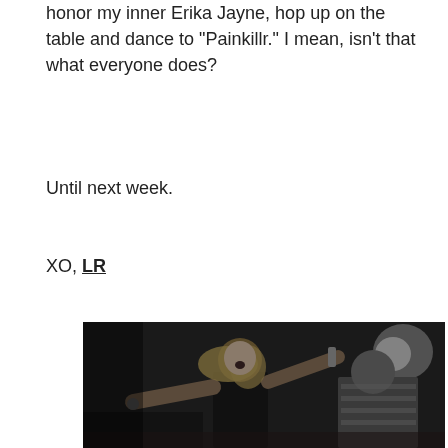honor my inner Erika Jayne, hop up on the table and dance to "Painkillr." I mean, isn't that what everyone does?
Until next week.
XO, LR
[Figure (photo): Black and white photo of a blonde woman in a black outfit dancing energetically with arms raised, in what appears to be a bar or club setting, with another person visible in the background]